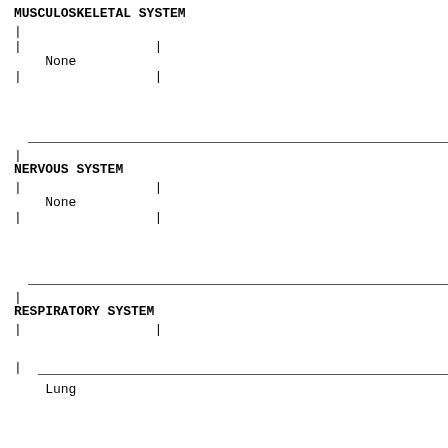MUSCULOSKELETAL SYSTEM
|
|                 |
    None                                                    |
|                 |
NERVOUS SYSTEM
|
|                 |
    None                                                    |
|                 |
RESPIRATORY SYSTEM
|
|                 |
Lung                                                    |